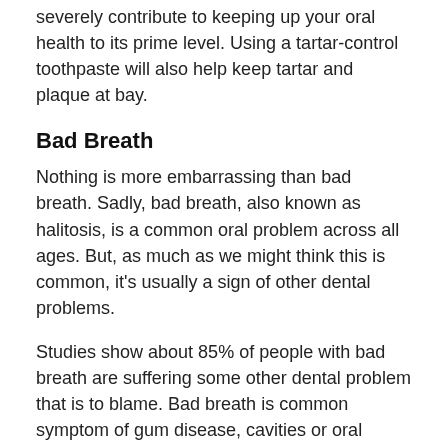severely contribute to keeping up your oral health to its prime level. Using a tartar-control toothpaste will also help keep tartar and plaque at bay.
Bad Breath
Nothing is more embarrassing than bad breath. Sadly, bad breath, also known as halitosis, is a common oral problem across all ages. But, as much as we might think this is common, it's usually a sign of other dental problems.
Studies show about 85% of people with bad breath are suffering some other dental problem that is to blame. Bad breath is common symptom of gum disease, cavities or oral cancer. Just because you have bad breath does not automatically mean that you have a serious dental problem. It could be cause by what you've been eating. There are certain foods that causes bad breath such as garlic, onions, sweets or liquor among many others.
Some spices also causes an odour in your breath. For